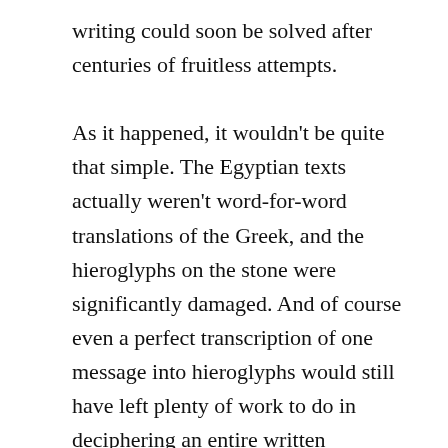writing could soon be solved after centuries of fruitless attempts.

As it happened, it wouldn't be quite that simple. The Egyptian texts actually weren't word-for-word translations of the Greek, and the hieroglyphs on the stone were significantly damaged. And of course even a perfect transcription of one message into hieroglyphs would still have left plenty of work to do in deciphering an entire written language. Nevertheless, the Rosetta Stone would indeed become a vital clue to the puzzle of the hieroglyphs, one whose story we'll return to in a